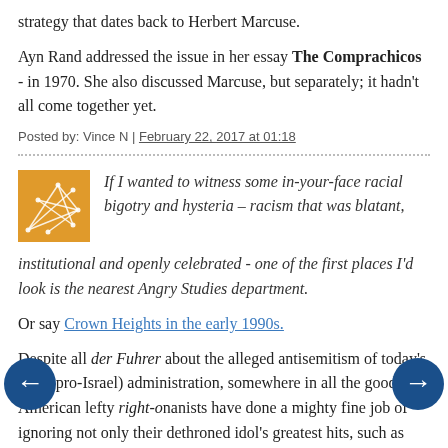strategy that dates back to Herbert Marcuse.
Ayn Rand addressed the issue in her essay The Comprachicos - in 1970. She also discussed Marcuse, but separately; it hadn't all come together yet.
Posted by: Vince N | February 22, 2017 at 01:18
[Figure (illustration): Orange square avatar with white geometric/network pattern overlay]
If I wanted to witness some in-your-face racial bigotry and hysteria – racism that was blatant, institutional and openly celebrated - one of the first places I'd look is the nearest Angry Studies department.
Or say Crown Heights in the early 1990s.
Despite all der Fuhrer about the alleged antisemitism of today's (very pro-Israel) administration, somewhere in all the goodthink American lefty right-onanists have done a mighty fine job of ignoring not only their dethroned idol's greatest hits, such as giving the Muslim Brotherhood a